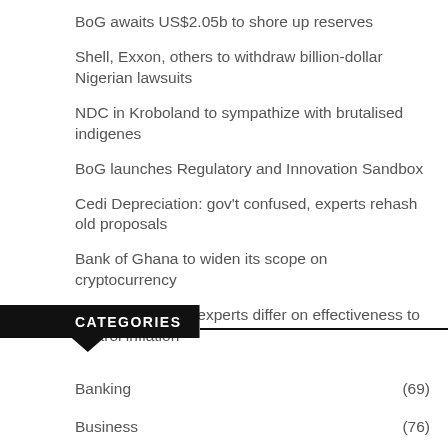BoG awaits US$2.05b to shore up reserves
Shell, Exxon, others to withdraw billion-dollar Nigerian lawsuits
NDC in Kroboland to sympathize with brutalised indigenes
BoG launches Regulatory and Innovation Sandbox
Cedi Depreciation: gov't confused, experts rehash old proposals
Bank of Ghana to widen its scope on cryptocurrency
Policy Rate Hike: experts differ on effectiveness to control inflation
CATEGORIES
Banking (69)
Business (76)